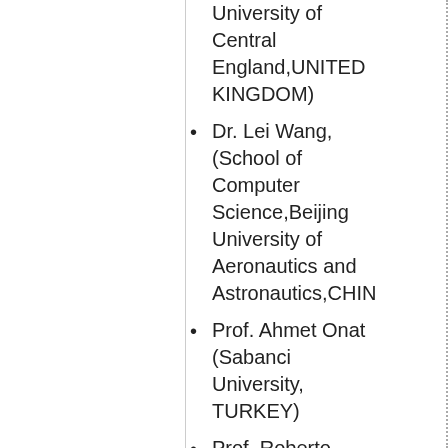University of Central England,UNITED KINGDOM)
Dr. Lei Wang, (School of Computer Science,Beijing University of Aeronautics and Astronautics,CHIN
Prof. Ahmet Onat (Sabanci University, TURKEY)
Prof. Roberto Bucher (University of Applied Sciences